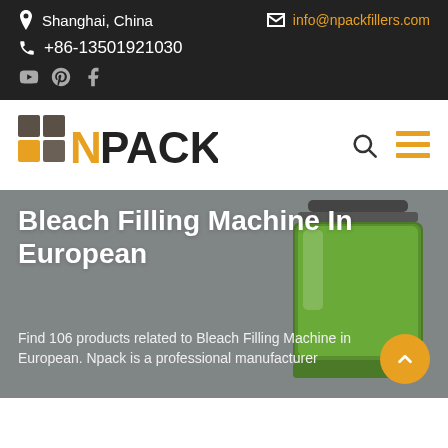Shanghai, China | info@npackfillers.com | +86-13501921030
[Figure (logo): N Pack logo with colored squares and bold text]
Bleach Filling Machine In European
Find 106 products related to Bleach Filling Machine in European. Npack is a professional manufacturer